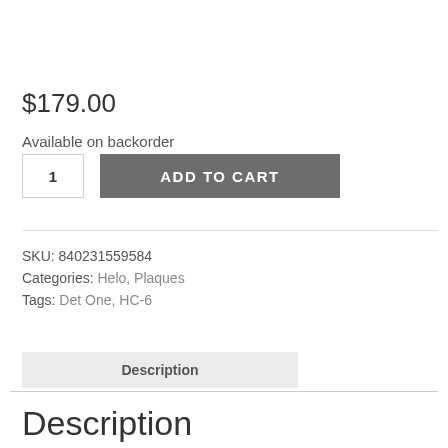$179.00
Available on backorder
1
ADD TO CART
SKU: 840231559584
Categories: Helo, Plaques
Tags: Det One, HC-6
Description
Description